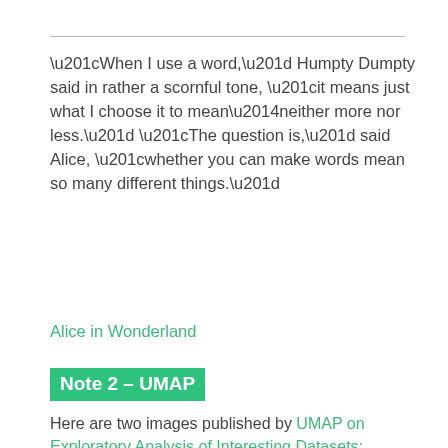“When I use a word,” Humpty Dumpty said in rather a scornful tone, “it means just what I choose it to mean—neither more nor less.” “The question is,” said Alice, “whether you can make words mean so many different things.”
Alice in Wonderland
Note 2 – UMAP
Here are two images published by UMAP on Exploratory Analysis of Interesting Datasets:
[Figure (other): A cropped view of a document titled 'The Structure of Recent Philosophy – Laid-out According to its Co-Citation Patterns – By Maximilian Noichl, Vienna, 2019' with a grid background and partial text visible.]